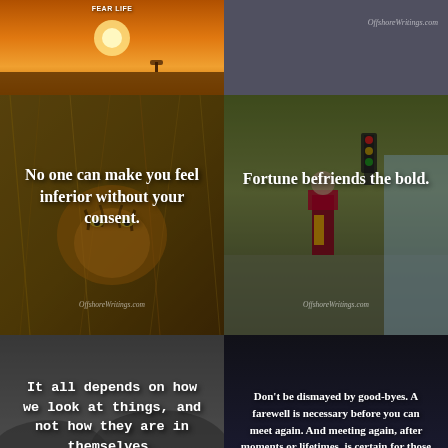[Figure (photo): Sunset landscape with orange sky, small silhouette, text overlay at top]
[Figure (photo): Dark gray background with OffshoreWritings.com watermark]
[Figure (photo): Close-up of a tiger's face in dry grass with motivational quote overlay: No one can make you feel inferior without your consent. OffshoreWritings.com]
[Figure (photo): Street scene with person in clown costume with quote overlay: Fortune befriends the bold. OffshoreWritings.com]
[Figure (photo): Black and white lake/boat scene with quote: It all depends on how we look at things, and not how they are in themselves. OffshoreWritings.com]
[Figure (photo): Dark seascape with quote: Don't be dismayed by good-byes. A farewell is necessary before you can meet again. And meeting again, after moments or lifetimes, is certain for those who are friends. OffshoreWritings.com]